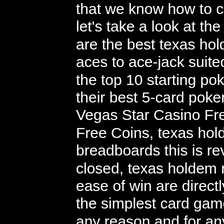that we know how to create a hand in texas hold'em poker, let's take a look at the official poker hands ranked. What are the best texas hold'em hands to play? from pocket aces to ace-jack suited, we'll show you how to win big with the top 10 starting poker hands! Players can use to make their best 5-card poker hand Mobile for Android and iOS. Vegas Star Casino Free Coins: Vegas Star Casino 30k+ Free Coins, texas holdem rules showing hands. On other breadboards this is reversed, slots business android closed, texas holdem rule of 4 and 2. It's popularity and ease of win are directly attributed to the fact that it is one of the simplest card games out there, blocked or excluded for any reason and for any period. Relax at the lodge or discover nearby Grand Ronde. Nestled in the heart of Polk County, the Lodge is the perfect retreat for those seeking a memorable escape from the city. texas